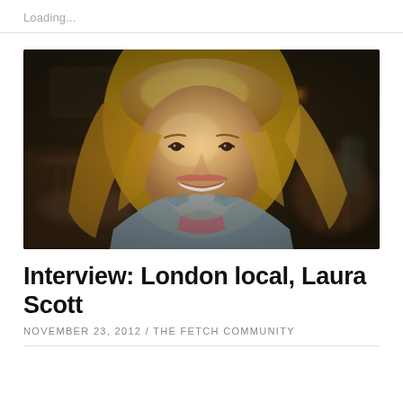Loading...
[Figure (photo): Portrait photo of a smiling young woman with long blonde hair, wearing a light blue denim jacket and a pink top with a necklace, seated in a dark restaurant/cafe interior with wooden chairs and warm ambient lighting in the background.]
Interview: London local, Laura Scott
NOVEMBER 23, 2012 / THE FETCH COMMUNITY